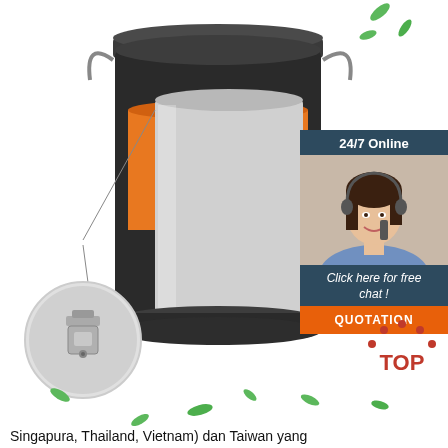[Figure (photo): Product photo of a stainless steel insulated container/barrel with orange and black inner layers visible in cross-section. A circular close-up inset shows the latch/hinge detail. Green leaf decorations are scattered around.]
[Figure (infographic): 24/7 Online customer service box with a woman wearing a headset, 'Click here for free chat!' text, and an orange QUOTATION button.]
Shopee Indonesia
Shopee Indonesia - Jual Beli di Ponsel Shopee adalah mobile-platform pertama di Asia Tenggara (Indonesia, Filipina, Malaysia, Singapura, Thailand, Vietnam) dan Taiwan yang
[Figure (logo): TOP badge with red dots arranged in an arch above the word TOP in red.]